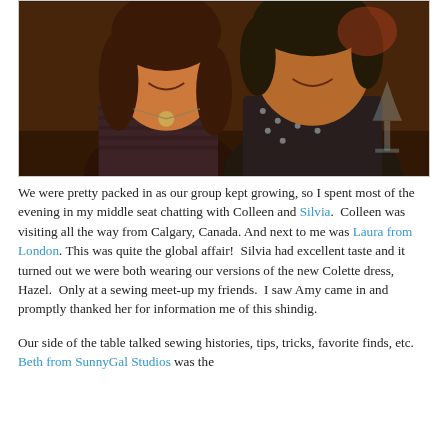[Figure (photo): Two smiling women posing together at what appears to be a restaurant or social gathering. The woman on the left has long dark hair and wears a striped sleeveless top with a necklace. The woman on the right wears a dark patterned top. A wine glass is partially visible on the right side.]
We were pretty packed in as our group kept growing, so I spent most of the evening in my middle seat chatting with Colleen and Silvia.  Colleen was visiting all the way from Calgary, Canada. And next to me was Laura from London.  This was quite the global affair!  Silvia had excellent taste and it turned out we were both wearing our versions of the new Colette dress, Hazel.  Only at a sewing meet-up my friends.  I saw Amy came in and promptly thanked her for information me of this shindig.
Our side of the table talked sewing histories, tips, tricks, favorite finds, etc.  Beth from SunnyGal Studios was the